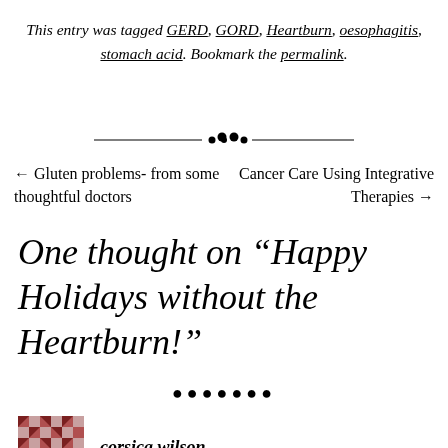This entry was tagged GERD, GORD, Heartburn, oesophagitis, stomach acid. Bookmark the permalink.
[Figure (illustration): Decorative horizontal ornament divider with dots in center]
← Gluten problems- from some thoughtful doctors
Cancer Care Using Integrative Therapies →
One thought on “Happy Holidays without the Heartburn!”
[Figure (illustration): Row of decorative black dots]
[Figure (illustration): Geometric patterned avatar icon (mosaic/tile pattern in dark red/maroon)]
corsica wilson